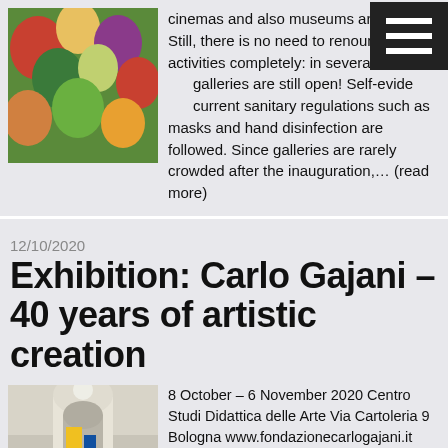[Figure (photo): Colorful autumn leaves with red, green and yellow foliage]
cinemas and also museums are closed. Still, there is no need to renounce activities completely: in several regions, galleries are still open! Self-evident, the current sanitary regulations such as masks and hand disinfection are followed. Since galleries are rarely crowded after the inauguration,… (read more)
12/10/2020
Exhibition: Carlo Gajani – 40 years of artistic creation
[Figure (photo): Interior of an art gallery with white walls, arched doorways, and colorful artworks]
8 October – 6 November 2020 Centro Studi Didattica delle Arte Via Cartoleria 9 Bologna www.fondazionecarlogajani.it Thursday – Sunday, 11:00 – 19:00 free